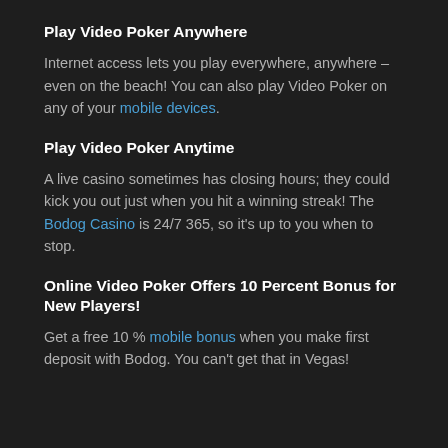Play Video Poker Anywhere
Internet access lets you play everywhere, anywhere – even on the beach! You can also play Video Poker on any of your mobile devices.
Play Video Poker Anytime
A live casino sometimes has closing hours; they could kick you out just when you hit a winning streak! The Bodog Casino is 24/7 365, so it's up to you when to stop.
Online Video Poker Offers 10 Percent Bonus for New Players!
Get a free 10 % mobile bonus when you make first deposit with Bodog. You can't get that in Vegas!